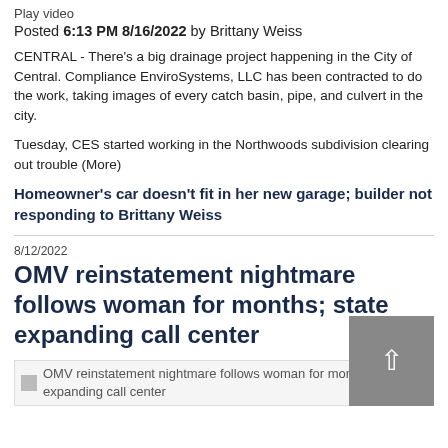Play video
Posted 6:13 PM 8/16/2022 by Brittany Weiss
CENTRAL - There's a big drainage project happening in the City of Central. Compliance EnviroSystems, LLC has been contracted to do the work, taking images of every catch basin, pipe, and culvert in the city.
Tuesday, CES started working in the Northwoods subdivision clearing out trouble (More)
Homeowner's car doesn't fit in her new garage; builder not responding to Brittany Weiss
8/12/2022
OMV reinstatement nightmare follows woman for months; state expanding call center
[Figure (photo): Placeholder image for article: OMV reinstatement nightmare follows woman for months; state expanding call center]